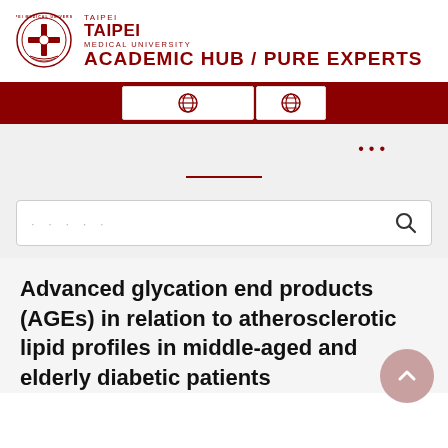[Figure (logo): Taipei Medical University seal/crest logo in dark red, circular with cross symbol]
TAIPEI
MEDICAL UNIVERSITY
ACADEMIC HUB / PURE EXPERTS
[Figure (screenshot): Dark red navigation bar with two white buttons containing globe/network icons]
[Figure (screenshot): Gray area with three dots menu indicator and a dark red horizontal separator line]
[Figure (screenshot): Search bar with dotted placeholder text and magnifying glass icon]
Advanced glycation end products (AGEs) in relation to atherosclerotic lipid profiles in middle-aged and elderly diabetic patients